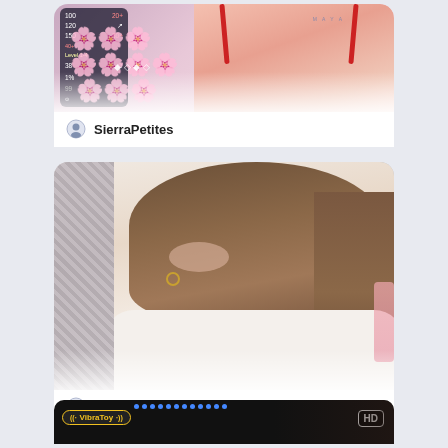[Figure (screenshot): Livestream thumbnail for user SierraPetites showing a person in red straps with a game overlay on the left side with pink flower graphics]
SierraPetites
[Figure (screenshot): Livestream thumbnail for user NastyushaaLove showing a young woman with long brown hair and gold hoop earrings wearing a white sweater]
NastyushaaLove
[Figure (screenshot): Partial livestream thumbnail showing VibraToy badge on left and HD badge on right against a dark background with blue dots]